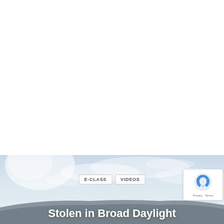[Figure (photo): Partial view of a car rooftop against a light blue cloudy sky, serving as background image for an article thumbnail. The bottom portion shows the roof of a vehicle.]
E-CLASS   VIDEOS
Stolen in Broad Daylight